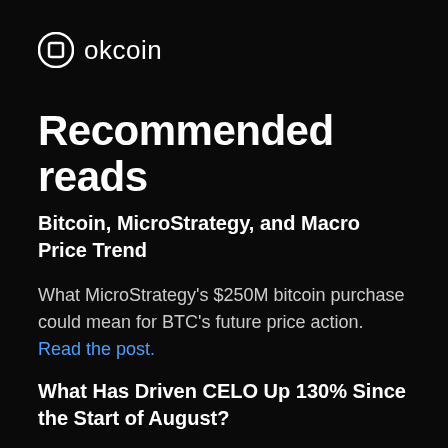[Figure (logo): OKCoin logo with circular icon and text 'okcoin']
Recommended reads
Bitcoin, MicroStrategy, and Macro Price Trend
What MicroStrategy's $250M bitcoin purchase could mean for BTC's future price action. Read the post.
What Has Driven CELO Up 130% Since the Start of August?